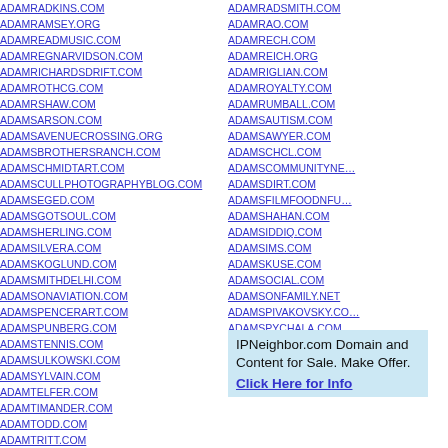ADAMRADKINS.COM
ADAMRAMSEY.ORG
ADAMREADMUSIC.COM
ADAMREGNARVIDSON.COM
ADAMRICHARDSDRIFT.COM
ADAMROTHCG.COM
ADAMRSHAW.COM
ADAMSARSON.COM
ADAMSAVENUECROSSING.ORG
ADAMSBROTHERSRANCH.COM
ADAMSCHMIDTART.COM
ADAMSCULLPHOTOGRAPHYBLOG.COM
ADAMSEGED.COM
ADAMSGOTSOUL.COM
ADAMSHERLING.COM
ADAMSILVERA.COM
ADAMSKOGLUND.COM
ADAMSMITHDELHI.COM
ADAMSONAVIATION.COM
ADAMSPENCERART.COM
ADAMSPUNBERG.COM
ADAMSTENNIS.COM
ADAMSULKOWSKI.COM
ADAMSYLVAIN.COM
ADAMTELFER.COM
ADAMTIMANDER.COM
ADAMTODD.COM
ADAMTRITT.COM
ADAMRADSMITH.COM
ADAMRAO.COM
ADAMRECH.COM
ADAMREICH.ORG
ADAMRIGLIAN.COM
ADAMROYALTY.COM
ADAMRUMBALL.COM
ADAMSAUTISM.COM
ADAMSAWYER.COM
ADAMSCHCL.COM
ADAMSCOMMUNITYNE…
ADAMSDIRT.COM
ADAMSFILMFOODNFU…
ADAMSHAHAN.COM
ADAMSIDDIQ.COM
ADAMSIMS.COM
ADAMSKUSE.COM
ADAMSOCIAL.COM
ADAMSONFAMILY.NET
ADAMSPIVAKOVSKY.C…
ADAMSPYCHALA.COM…
ADAMSTKHLM.COM
ADAMSWELLNESS.CO…
IPNeighbor.com Domain and Content for Sale. Make Offer. Click Here for Info